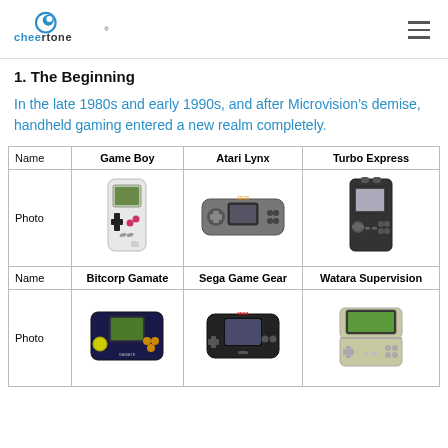Cheertone logo and navigation
1. The Beginning
In the late 1980s and early 1990s, and after Microvision’s demise, handheld gaming entered a new realm completely.
| Name | Game Boy | Atari Lynx | Turbo Express |
| --- | --- | --- | --- |
| Photo | [Game Boy image] | [Atari Lynx image] | [Turbo Express image] |
| Name | Bitcorp Gamate | Sega Game Gear | Watara Supervision |
| Photo | [Gamate image] | [Sega Game Gear image] | [Watara Supervision image] |